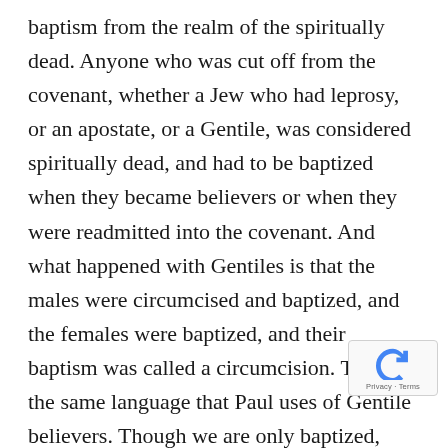baptism from the realm of the spiritually dead. Anyone who was cut off from the covenant, whether a Jew who had leprosy, or an apostate, or a Gentile, was considered spiritually dead, and had to be baptized when they became believers or when they were readmitted into the covenant. And what happened with Gentiles is that the males were circumcised and baptized, and the females were baptized, and their baptism was called a circumcision. That's the same language that Paul uses of Gentile believers. Though we are only baptized, Romans 2:26 says that it is counted as circumcision. And in Philippians 3:3 he says that we are the circumcision. What happened with Jews who were apostates and later repented, is that they